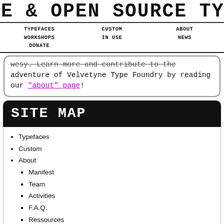E & OPEN SOURCE TYPE FOUNDRY
TYPEFACES
WORKSHOPS
DONATE
CUSTOM
IN USE
ABOUT
NEWS
...adventure of Velvetyne Type Foundry by reading our “about” page!
SITE MAP
Typefaces
Custom
About
Manifest
Team
Activities
F.A.Q.
Ressources
Workshops
In use